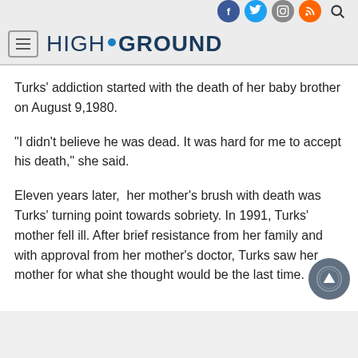HIGH•GROUND (with social icons: Facebook, Twitter, Instagram, RSS, Search)
Turks' addiction started with the death of her baby brother on August 9,1980.
“I didn’t believe he was dead. It was hard for me to accept his death,” she said.
Eleven years later,  her mother’s brush with death was Turks’ turning point towards sobriety. In 1991, Turks’ mother fell ill. After brief resistance from her family and with approval from her mother’s doctor, Turks saw her mother for what she thought would be the last time.